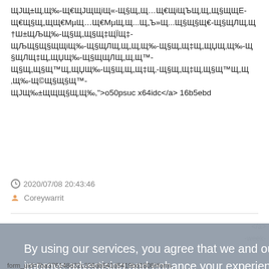ЩЈЩ±Щ‚Щ‰-Щ€ЩЈЩЩіЩ«-Щ§Щ„Щ…Щ€ЩіЩЪЩ‚Щ„Щ§ЩЩЕ-Щ€Щ§Щ„ЩЩ€МµЩ…Щ€МµЩ‚Щ...Щ„Ъ»Щ...Щ§Щ§Щ€-Щ§ЩЛЩ‚Щ†Ш±ЩЉЩ‰-Щ§Щ„Щ§Щ‡ЩЇЩ‡-Щ†Щ§Щ§ЩЩіЩ‰-Щ§ЩЛЩ‚Щ„Щ‚Щ‰-Щ§Щ„Щ‡Щ„ЩЏЩ‚Щ‰-Щ§ЩЛЩ‡Щ„ЩЏЩ‰-Щ§ЩЩЛЩ„Щ‚Щ™-Щ§Щ„Щ§Щ™Щ„ЩЏЩ‰-Щ§Щ‚Щ„Щ‡Щ‚-Щ§Щ„Щ‡Щ‚Щ§Щ™Щ„Щ‚Щ‰-Щ⑩Щ§Щ§Щ™-Щ§Щ‡Щ‚ЩЙЩ§Щ€-Щ§Щ€Щ§ЩЩ‡Щ‚-Щ§Щ‡Щ‚ЩЙЩ‰Щ›-ЩЈЩ‰±ЩЩЩ§Щ‚Щ‰,">o50psuc x64idc</a> 16b5ebd
2020/07/08 20:43:46
Coreywarrit
By using our services, you agree that we and our partners use cookies to improve advertising and enhance your experience on our services.  Learn more
OK
</a> -week- v 78ovtm 0?
form_uid=7ba376148d32c326db541d5419bd1808#form-